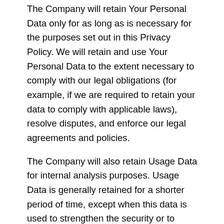The Company will retain Your Personal Data only for as long as is necessary for the purposes set out in this Privacy Policy. We will retain and use Your Personal Data to the extent necessary to comply with our legal obligations (for example, if we are required to retain your data to comply with applicable laws), resolve disputes, and enforce our legal agreements and policies.
The Company will also retain Usage Data for internal analysis purposes. Usage Data is generally retained for a shorter period of time, except when this data is used to strengthen the security or to improve the functionality of Our Service, or We are legally obligated to retain this data for longer time periods.
Transfer of Your Personal